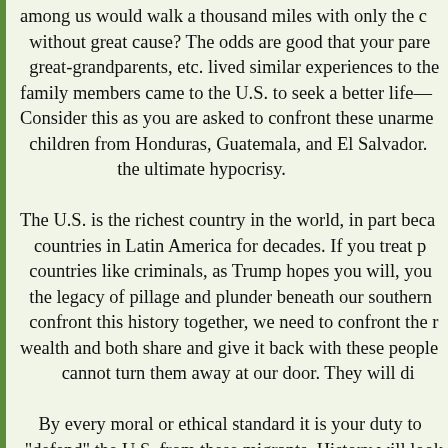among us would walk a thousand miles with only the clothes on our backs without great cause? The odds are good that your parents, grandparents, great-grandparents, etc. lived similar experiences to these migrants. Your family members came to the U.S. to seek a better life— Consider this as you are asked to confront these unarmed men, women, and children from Honduras, Guatemala, and El Salvador. That would be the ultimate hypocrisy.

The U.S. is the richest country in the world, in part because we have pillaged countries in Latin America for decades. If you treat people who came from countries like criminals, as Trump hopes you will, you are hiding and ignoring the legacy of pillage and plunder beneath our southern border. We need to confront this history together, we need to confront the reality of our extreme wealth and both share and give it back with these people. You simply cannot turn them away at our door. They will die.

By every moral or ethical standard it is your duty to refuse orders to "defend" the U.S. from these migrants. History will look kindly on what you do. There are tens of thousands of us who will support you when you lay your weapons down. You are better than your Commander in Chief. My only advice is to resist in groups. Organize with your fellow soldiers. Do not go this alone. It is much harder to punish the many than the few.

In solidarity,